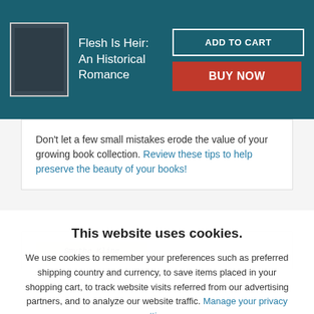[Figure (screenshot): E-commerce page header showing a dark book cover thumbnail, book title 'Flesh Is Heir: An Historical Romance', an 'ADD TO CART' button with white border, and a red 'BUY NOW' button, all on a teal/dark cyan background.]
Don't let a few small mistakes erode the value of your growing book collection. Review these tips to help preserve the beauty of your books!
[Figure (photo): Partial view of a book cover with a beige/cream label showing handwritten or printed cursive text, partially visible.]
This website uses cookies.
We use cookies to remember your preferences such as preferred shipping country and currency, to save items placed in your shopping cart, to track website visits referred from our advertising partners, and to analyze our website traffic. Manage your privacy settings.
AGREE AND CLOSE